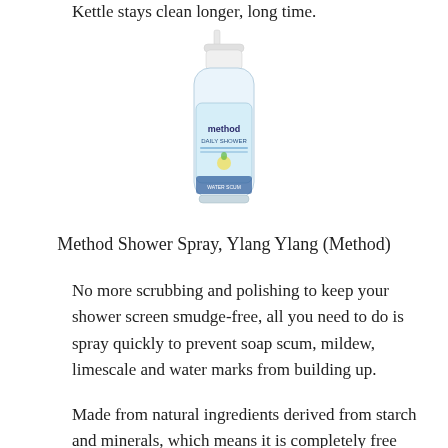Kettle stays clean longer, long time.
[Figure (photo): Method Daily Shower spray bottle with white trigger sprayer, clear container with blue label showing 'method DAILY SHOWER' branding]
Method Shower Spray, Ylang Ylang (Method)
No more scrubbing and polishing to keep your shower screen smudge-free, all you need to do is spray quickly to prevent soap scum, mildew, limescale and water marks from building up.
Made from natural ingredients derived from starch and minerals, which means it is completely free from toxic